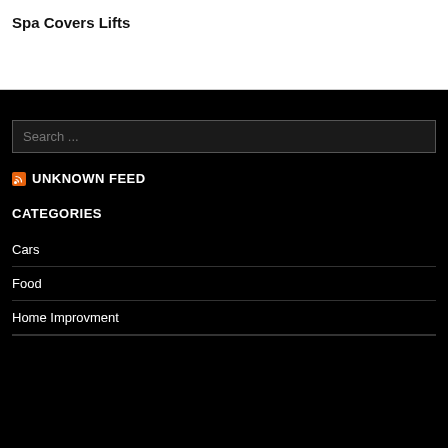Spa Covers Lifts
Search ...
UNKNOWN FEED
CATEGORIES
Cars
Food
Home Improvment